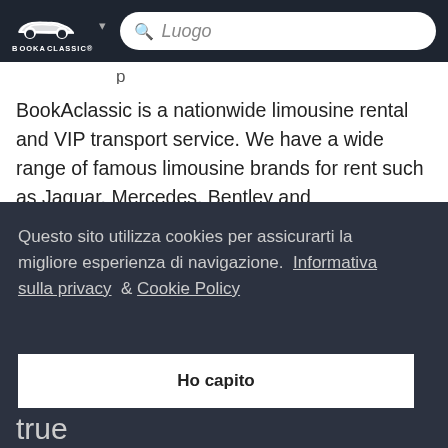[Figure (logo): BookAclassic logo with car silhouette icon and brand name in white on dark background]
BookAclassic is a nationwide limousine rental and VIP transport service. We have a wide range of famous limousine brands for rent such as Jaguar, Mercedes, Bentley and
Questo sito utilizza cookies per assicurarti la migliore esperienza di navigazione. Informativa sulla privacy & Cookie Policy
Ho capito
true